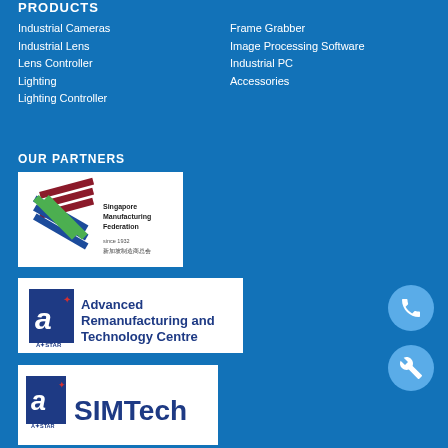PRODUCTS
Industrial Cameras
Industrial Lens
Lens Controller
Lighting
Lighting Controller
Frame Grabber
Image Processing Software
Industrial PC
Accessories
OUR PARTNERS
[Figure (logo): Singapore Manufacturing Federation logo with stylized S shape in dark red and blue stripes with green diagonal lines, text 'Singapore Manufacturing Federation' and Chinese characters]
[Figure (logo): A*STAR Advanced Remanufacturing and Technology Centre logo]
[Figure (logo): A*STAR SIMTech logo]